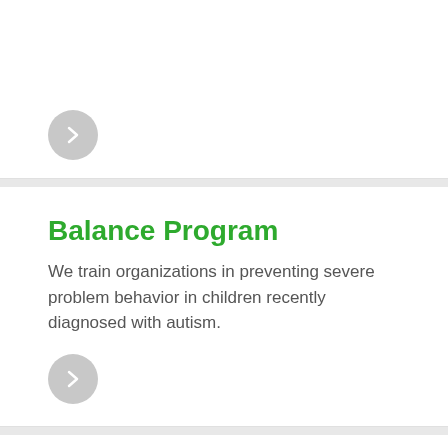[Figure (other): Gray circle with right arrow icon, navigation button at top of page]
Balance Program
We train organizations in preventing severe problem behavior in children recently diagnosed with autism.
[Figure (other): Gray circle with right arrow icon, navigation button below Balance Program text]
View All Services
Discover the other ways we can help you.
[Figure (other): View All button with right arrow, bordered rectangle]
[Figure (other): Gray circle with upward chevron, scroll-to-top button]